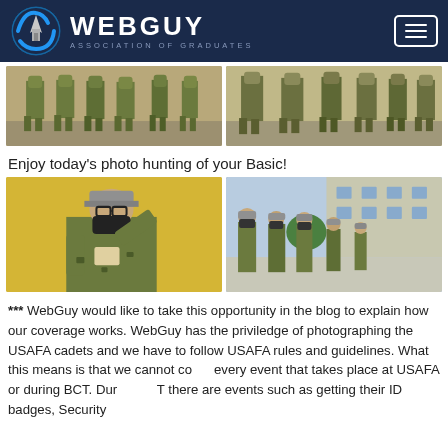WEBGUY ASSOCIATION OF GRADUATES
[Figure (photo): Two side-by-side photos of military cadets in camouflage uniforms marching in formation on a paved area]
Enjoy today's photo hunting of your Basic!
[Figure (photo): Two side-by-side photos: left shows a cadet in camouflage with face mask and grey hat saluting indoors; right shows cadets in camouflage and grey hats standing at attention outdoors near a building]
*** WebGuy would like to take this opportunity in the blog to explain how our coverage works. WebGuy has the priviledge of photographing the USAFA cadets and we have to follow USAFA rules and guidelines. What this means is that we cannot cover every event that takes place at USAFA or during BCT. During BCT there are events such as getting their ID badges, Security